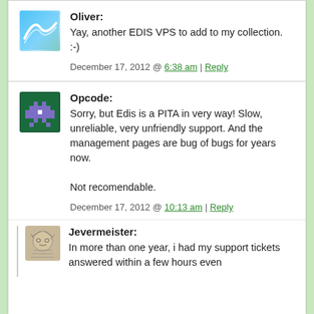Oliver: Yay, another EDIS VPS to add to my collection. :-)
December 17, 2012 @ 6:38 am | Reply
Opcode: Sorry, but Edis is a PITA in very way! Slow, unreliable, very unfriendly support. And the management pages are bug of bugs for years now.
Not recomendable.
December 17, 2012 @ 10:13 am | Reply
Jevermeister: In more than one year, i had my support tickets answered within a few hours even